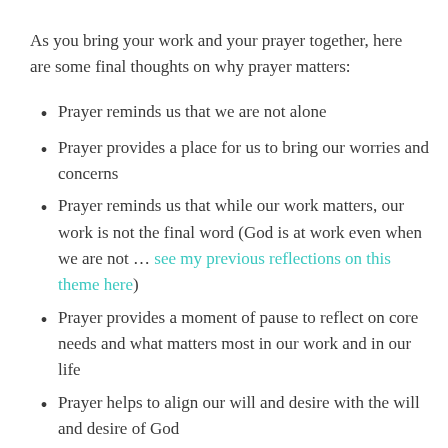As you bring your work and your prayer together, here are some final thoughts on why prayer matters:
Prayer reminds us that we are not alone
Prayer provides a place for us to bring our worries and concerns
Prayer reminds us that while our work matters, our work is not the final word (God is at work even when we are not … see my previous reflections on this theme here)
Prayer provides a moment of pause to reflect on core needs and what matters most in our work and in our life
Prayer helps to align our will and desire with the will and desire of God
Prayer helps to align the resources of heaven